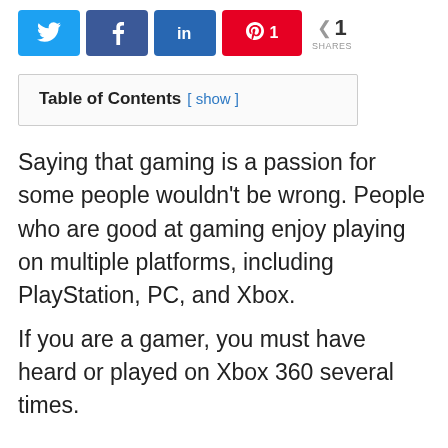[Figure (other): Social sharing buttons row: Twitter (blue), Facebook (blue), LinkedIn (blue), Pinterest (red with number 1), and a share count showing 1 SHARES]
Table of Contents [ show ]
Saying that gaming is a passion for some people wouldn't be wrong. People who are good at gaming enjoy playing on multiple platforms, including PlayStation, PC, and Xbox.
If you are a gamer, you must have heard or played on Xbox 360 several times.